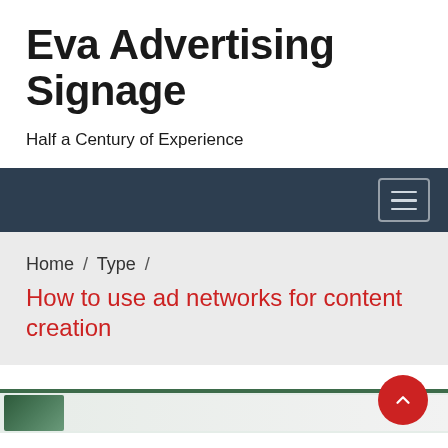Eva Advertising Signage
Half a Century of Experience
[Figure (other): Dark navy navigation bar with hamburger menu button (three horizontal lines) on the right side]
Home / Type / How to use ad networks for content creation
[Figure (other): Partial bottom image with green/teal border at top, showing the beginning of a photograph]